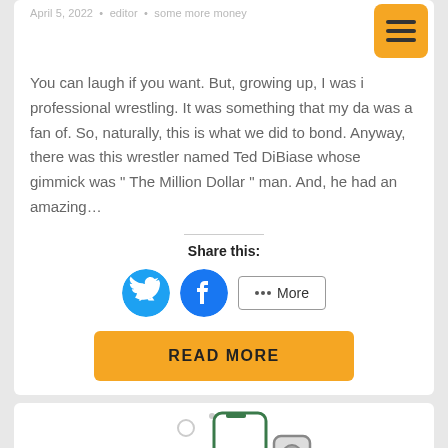April 5, 2022 • editor • some more money
You can laugh if you want. But, growing up, I was i[nto] professional wrestling. It was something that my da[d] was a fan of. So, naturally, this is what we did to bond. Anyway, there was this wrestler named Ted DiBiase whose gimmick was “ The Million Dollar ” man. And, he had an amazing…
Share this:
[Figure (illustration): Twitter share button (blue circle with bird icon), Facebook share button (blue circle with f icon), and a More button with share icon]
[Figure (illustration): READ MORE button in orange/yellow]
[Figure (illustration): Partial view of a phone/device illustration at the bottom of the page]